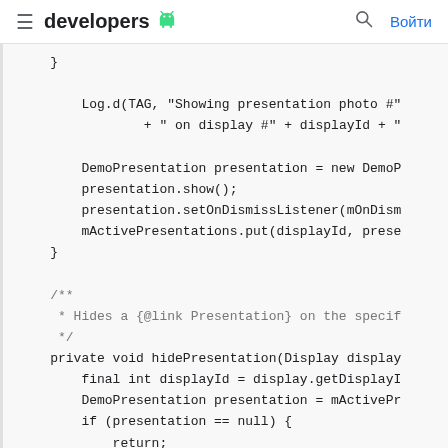≡ developers 🤖  🔍 Войти
}

        Log.d(TAG, "Showing presentation photo #"
                + " on display #" + displayId + "

        DemoPresentation presentation = new DemoP
        presentation.show();
        presentation.setOnDismissListener(mOnDism
        mActivePresentations.put(displayId, prese
    }

    /**
     * Hides a {@link Presentation} on the specif
     */
    private void hidePresentation(Display display
        final int displayId = display.getDisplayI
        DemoPresentation presentation = mActivePr
        if (presentation == null) {
            return;
        }